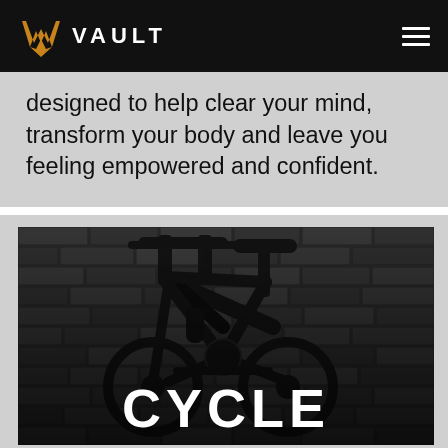VAULT
designed to help clear your mind, transform your body and leave you feeling empowered and confident.
[Figure (photo): Black and white photo of a stationary cycling bike against a brick wall background, with the word CYCLE in bold white text overlaid at the bottom center.]